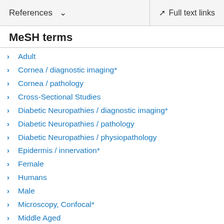References   Full text links
MeSH terms
Adult
Cornea / diagnostic imaging*
Cornea / pathology
Cross-Sectional Studies
Diabetic Neuropathies / diagnostic imaging*
Diabetic Neuropathies / pathology
Diabetic Neuropathies / physiopathology
Epidermis / innervation*
Female
Humans
Male
Microscopy, Confocal*
Middle Aged
Nerve Fibers / pathology*
ROC Curve
Temperature